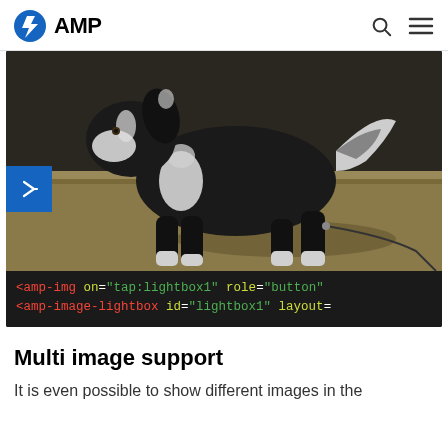AMP
[Figure (screenshot): AMP demo showing a black and white border collie dog on a leash standing on dry grass, displayed inside a dark-themed AMP image lightbox demo container. Below the image is code: <amp-img on="tap:lightbox1" role="button" and <amp-image-lightbox id="lightbox1" layout=. A blue navigation arrow button is visible on the left side.]
Multi image support
It is even possible to show different images in the